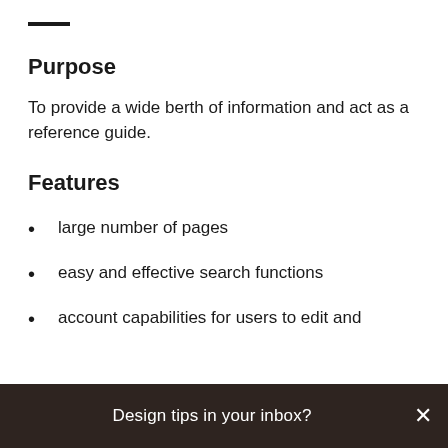Purpose
To provide a wide berth of information and act as a reference guide.
Features
large number of pages
easy and effective search functions
account capabilities for users to edit and
Design tips in your inbox?